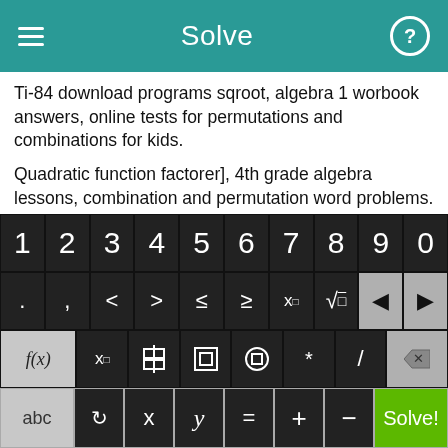Solve
Ti-84 download programs sqroot, algebra 1 worbook answers, online tests for permutations and combinations for kids.
Quadratic function factorer], 4th grade algebra lessons, combination and permutation word problems.
Grade 9 math slope quiz, saxon math cheating, probability combinations worksheet, aptitude question and answers, convert to square roots.
[Figure (screenshot): On-screen math keyboard with number keys 0-9, symbol keys including <, >, ≤, ≥, x^n, sqrt, backspace/forward arrows, function keys f(x), x subscript, fraction, absolute value, parentheses, multiply, divide, delete, and bottom row with abc, rotation, x, y, =, +, -, and green Solve! button.]